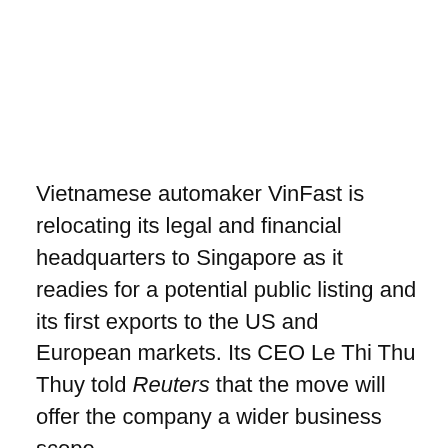Vietnamese automaker VinFast is relocating its legal and financial headquarters to Singapore as it readies for a potential public listing and its first exports to the US and European markets. Its CEO Le Thi Thu Thuy told Reuters that the move will offer the company a wider business scope.
“We feel that Singapore is a jurisdiction that will give investors more confidence. We put ourselves in the shoes of the investors,” she told the news agency in an interview. While she didn’t elaborate further, the report suggested that Singapore’s strong regulatory framework, mature